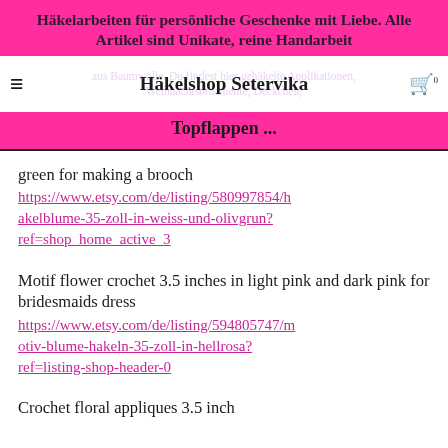Häkelarbeiten für persönliche Geschenke mit Liebe. Alle Artikel sind Unikate, reine Handarbeit aus Baumwolle. Du findest hier gehäkelte Applikationen, Weihnachtsornamente, Deckchen, Topflappen ...
Häkelshop Setervika
green for making a brooch
https://www.etsy.com/de/listing/580997854/hakelblume-35-zoll-in-weiss-und-olivgrun?ref=shop_home_active_3
Motif flower crochet 3.5 inches in light pink and dark pink for bridesmaids dress
https://www.etsy.com/de/listing/594805747/motiv-blume-hakeln-35-zoll-in-hellrosa?ref=listing-shop-header-0
Crochet floral appliques 3.5 inch